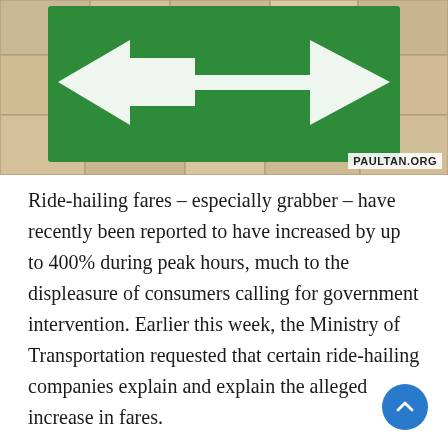[Figure (photo): A green road sign with a white arrow pointing left, photographed against a paved stone background. A watermark reading 'PAULTAN.ORG' appears in the bottom-right corner of the image.]
Ride-hailing fares – especially grabber – have recently been reported to have increased by up to 400% during peak hours, much to the displeasure of consumers calling for government intervention. Earlier this week, the Ministry of Transportation requested that certain ride-hailing companies explain and explain the alleged increase in fares.
Yesterday, after a meeting with operators, the ministry said ride-hailing providers explained that the increase in fares was due to a lack of drivers